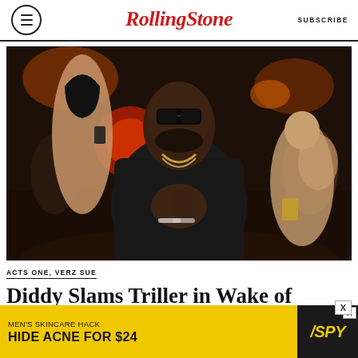Rolling Stone | SUBSCRIBE
[Figure (photo): Man in dark outfit with sunglasses and diamond jewelry, hands clasped in prayer pose at a crowded event]
ACTS ONE, VERZ SUE
Diddy Slams Triller in Wake of
[Figure (infographic): Advertisement: MEN'S SKINCARE HACK - HIDE ACNE FOR $24 - SPY]